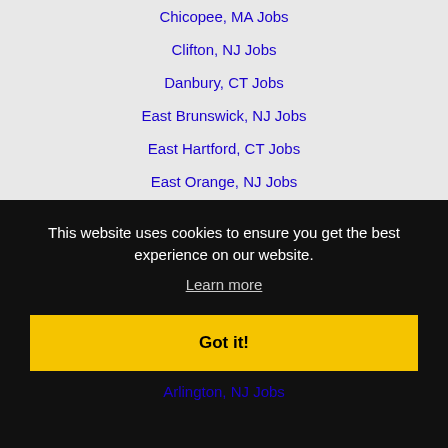Chicopee, MA Jobs
Clifton, NJ Jobs
Danbury, CT Jobs
East Brunswick, NJ Jobs
East Hartford, CT Jobs
East Orange, NJ Jobs
Edison, NJ Jobs
Elizabeth, NJ Jobs
Fairfield, CT Jobs
Freeport, NY Jobs
This website uses cookies to ensure you get the best experience on our website.
Learn more
Got it!
Arlington, NJ Jobs